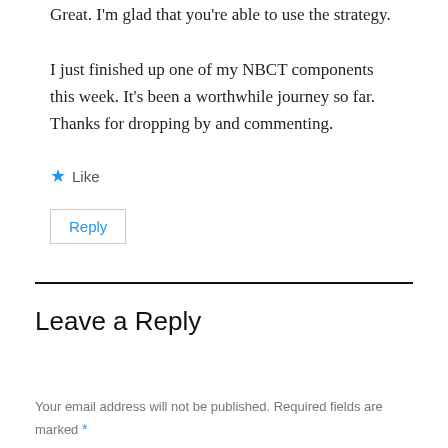Great. I'm glad that you're able to use the strategy.
I just finished up one of my NBCT components this week. It's been a worthwhile journey so far. Thanks for dropping by and commenting.
★ Like
Reply
Leave a Reply
Your email address will not be published. Required fields are marked *